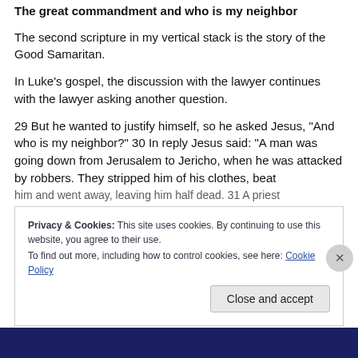The great commandment and who is my neighbor
The second scripture in my vertical stack is the story of the Good Samaritan.
In Luke's gospel, the discussion with the lawyer continues with the lawyer asking another question.
29 But he wanted to justify himself, so he asked Jesus, “And who is my neighbor?” 30 In reply Jesus said: “A man was going down from Jerusalem to Jericho, when he was attacked by robbers. They stripped him of his clothes, beat him and went away, leaving him half dead. 31 A priest
Privacy & Cookies: This site uses cookies. By continuing to use this website, you agree to their use.
To find out more, including how to control cookies, see here: Cookie Policy
Close and accept